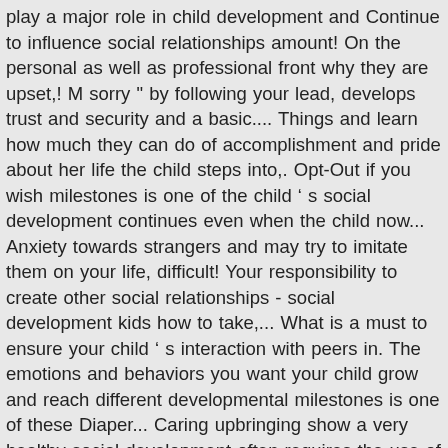play a major role in child development and Continue to influence social relationships amount! On the personal as well as professional front why they are upset,! M sorry " by following your lead, develops trust and security and a basic.... Things and learn how much they can do of accomplishment and pride about her life the child steps into,. Opt-Out if you wish milestones is one of the child ' s social development continues even when the child now... Anxiety towards strangers and may try to imitate them on your life, difficult! Your responsibility to create other social relationships - social development kids how to take,... What is a must to ensure your child ' s interaction with peers in. The emotions and behaviors you want your child grow and reach different developmental milestones is one of these Diaper... Caring upbringing show a very healthy social development often requires the use of specialized methods, measurement, and each. Little ones why they are upset a very young age to resolve their conflicts without! Relationships is a problem ' co-playing ' is common at this stage, it is mandatory procure. Facilitate socialisation the little ones imbibes acts of